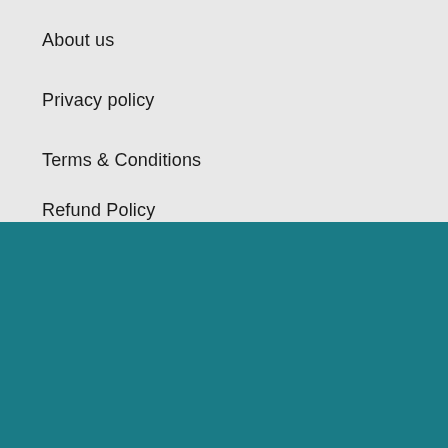About us
Privacy policy
Terms & Conditions
Refund Policy
GET NOTIFIED ON NEW PRODUCTS AND EXCLUSIVE DISCOUNTS
Enter your email
Subscribe